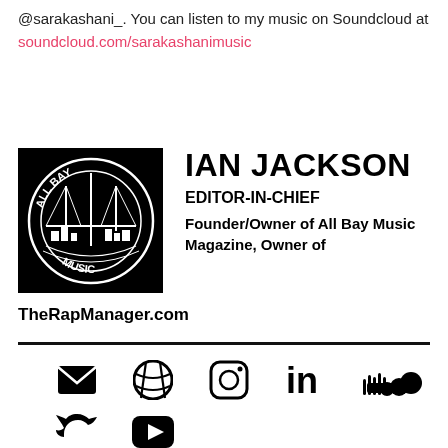@sarakashani_. You can listen to my music on Soundcloud at soundcloud.com/sarakashanimusic
[Figure (logo): All Bay Music circular logo with bridge graphic on black background]
IAN JACKSON
EDITOR-IN-CHIEF
Founder/Owner of All Bay Music Magazine, Owner of TheRapManager.com
[Figure (other): Social media icons: email, dribbble, instagram, linkedin, soundcloud, twitter, youtube]